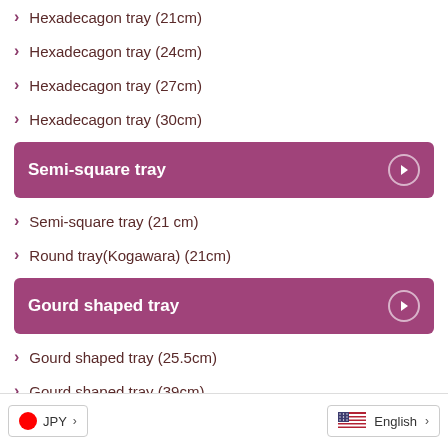Hexadecagon tray (21cm)
Hexadecagon tray (24cm)
Hexadecagon tray (27cm)
Hexadecagon tray (30cm)
Semi-square tray
Semi-square tray (21 cm)
Round tray(Kogawara) (21cm)
Gourd shaped tray
Gourd shaped tray (25.5cm)
Gourd shaped tray (39cm)
Square tray
Square tray (24 cm)
JPY | English